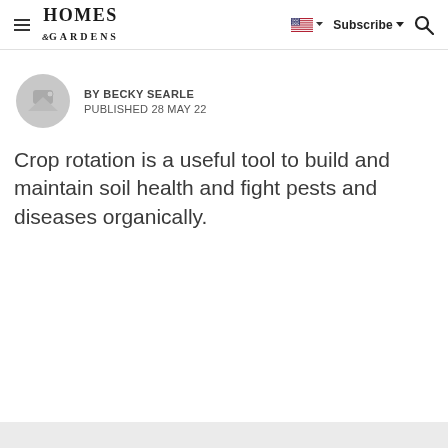HOMES & GARDENS — navigation bar with hamburger menu, logo, flag/language selector, Subscribe button, search icon
BY BECKY SEARLE
PUBLISHED 28 MAY 22
Crop rotation is a useful tool to build and maintain soil health and fight pests and diseases organically.